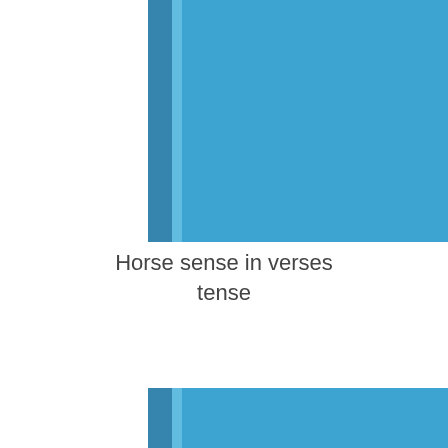[Figure (illustration): Top book spine and cover in blue (steel blue), shown partially cropped at top of page]
Horse sense in verses tense
[Figure (illustration): Bottom book spine and cover in blue (steel blue), shown partially cropped at bottom of page]